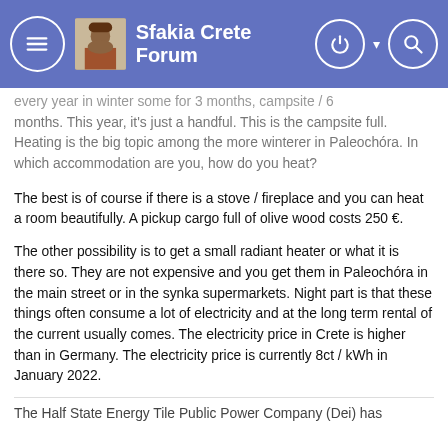Sfakia Crete Forum
every year in winter some for 3 months, campsite / 6 months. This year, it's just a handful. This is the campsite full. Heating is the big topic among the more winterer in Paleochóra. In which accommodation are you, how do you heat?
The best is of course if there is a stove / fireplace and you can heat a room beautifully. A pickup cargo full of olive wood costs 250 €.
The other possibility is to get a small radiant heater or what it is there so. They are not expensive and you get them in Paleochóra in the main street or in the synka supermarkets. Night part is that these things often consume a lot of electricity and at the long term rental of the current usually comes. The electricity price in Crete is higher than in Germany. The electricity price is currently 8ct / kWh in January 2022.
The Half State Energy Tile Public Power Company (Dei) has